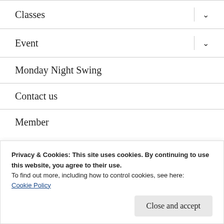Classes
Event
Monday Night Swing
Contact us
Member
Privacy & Cookies: This site uses cookies. By continuing to use this website, you agree to their use.
To find out more, including how to control cookies, see here:
Cookie Policy
Close and accept